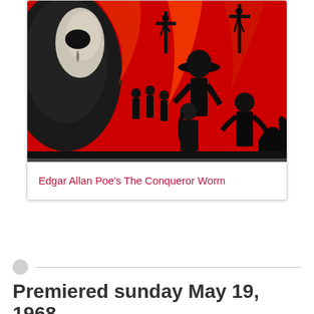[Figure (illustration): Movie poster illustration for Edgar Allan Poe's The Conqueror Worm. Dark red background with black silhouette figures including a man in a wide-brimmed hat, people being led or dragged, crosses/gallows in background, and a large dark face on the left side. High contrast red and black horror movie artwork.]
Edgar Allan Poe's The Conqueror Worm
Premiered sunday May 19, 1968